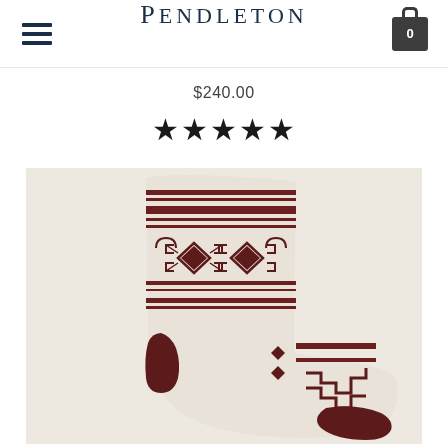PENDLETON
$240.00
★★★★★
[Figure (photo): Cream/beige wool sock with dark burgundy/maroon Native American-inspired geometric pattern including stripes, diamond shapes, and angular designs at the toe and heel.]